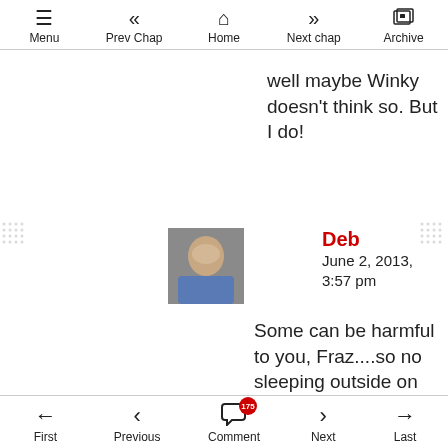Menu | Prev Chap | Home | Next chap | Archive
well maybe Winky doesn't think so. But I do!
Deb
June 2, 2013, 3:57 pm
Some can be harmful to you, Fraz....so no sleeping outside on the ground....just at your beach
First | Previous | Comment (175) | Next | Last